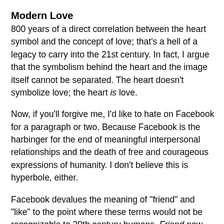Modern Love
800 years of a direct correlation between the heart symbol and the concept of love; that's a hell of a legacy to carry into the 21st century. In fact, I argue that the symbolism behind the heart and the image itself cannot be separated. The heart doesn't symbolize love; the heart is love.
Now, if you'll forgive me, I'd like to hate on Facebook for a paragraph or two. Because Facebook is the harbinger for the end of meaningful interpersonal relationships and the death of free and courageous expressions of humanity. I don't believe this is hyperbole, either.
Facebook devalues the meaning of "friend" and "like" to the point where these terms would not be recognizable to 20th century humans. Friend now means someone who has a page on Facebook that you find agreeable for any reason, no matter how trivial. Friend no longer implies a personal, emotional connection between two people. In the same manner, like has been bastardized from its pervious meaning of "to express personal interest in a person, place, or thing."